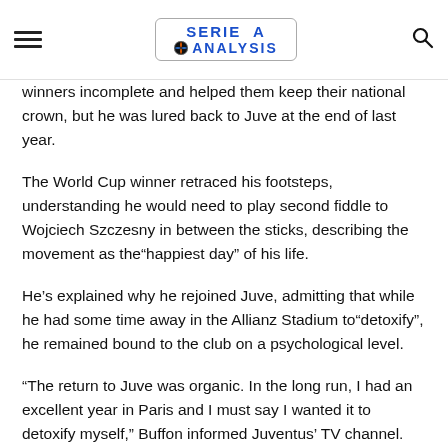SERIE A ANALYSIS
winners incomplete and helped them keep their national crown, but he was lured back to Juve at the end of last year.
The World Cup winner retraced his footsteps, understanding he would need to play second fiddle to Wojciech Szczesny in between the sticks, describing the movement as the"happiest day" of his life.
He's explained why he rejoined Juve, admitting that while he had some time away in the Allianz Stadium to"detoxify", he remained bound to the club on a psychological level.
“The return to Juve was organic. In the long run, I had an excellent year in Paris and I must say I wanted it to detoxify myself,” Buffon informed Juventus’ TV channel.